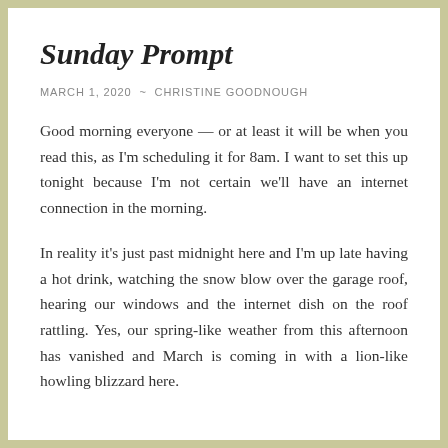Sunday Prompt
MARCH 1, 2020 ~ CHRISTINE GOODNOUGH
Good morning everyone — or at least it will be when you read this, as I'm scheduling it for 8am. I want to set this up tonight because I'm not certain we'll have an internet connection in the morning.
In reality it's just past midnight here and I'm up late having a hot drink, watching the snow blow over the garage roof, hearing our windows and the internet dish on the roof rattling. Yes, our spring-like weather from this afternoon has vanished and March is coming in with a lion-like howling blizzard here.